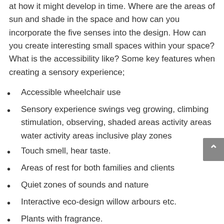at how it might develop in time. Where are the areas of sun and shade in the space and how can you incorporate the five senses into the design. How can you create interesting small spaces within your space? What is the accessibility like? Some key features when creating a sensory experience;
Accessible wheelchair use
Sensory experience swings veg growing, climbing stimulation, observing, shaded areas activity areas water activity areas inclusive play zones
Touch smell, hear taste.
Areas of rest for both families and clients
Quiet zones of sounds and nature
Interactive eco-design willow arbours etc.
Plants with fragrance.
Plants with colour.
Wildlife areas.